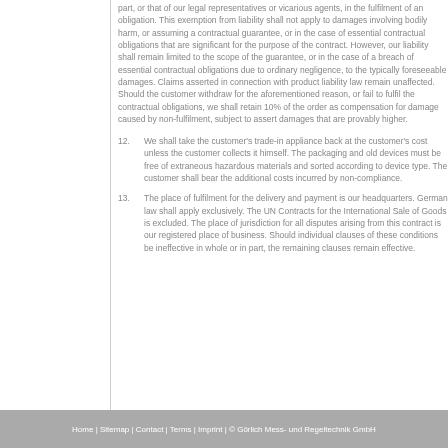part, or that of our legal representatives or vicarious agents, in the fulfilment of an obligation. This exemption from liability shall not apply to damages involving bodily harm, or assuming a contractual guarantee, or in the case of essential contractual obligations that are significant for the purpose of the contract. However, our liability shall remain limited to the scope of the guarantee, or in the case of a breach of essential contractual obligations due to ordinary negligence, to the typically foreseeable damages. Claims asserted in connection with product liability law remain unaffected. Should the customer withdraw for the aforementioned reason, or fail to fulfil the contractual obligations, we shall retain 10% of the order as compensation for damage caused by non-fulfilment, subject to assert damages that are provably higher.
12. We shall take the customer's trade-in appliance back at the customer's cost unless the customer collects it himself. The packaging and old devices must be free of extraneous hazardous materials and sorted according to device type. The customer shall bear the additional costs incurred by non-compliance.
13. The place of fulfilment for the delivery and payment is our headquarters. German law shall apply exclusively. The UN Contracts for the International Sale of Goods is excluded. The place of jurisdiction for all disputes arising from this contract is our registered place of business. Should individual clauses of these conditions be ineffective in whole or in part, the remaining clauses remain effective.
Home | Sitemap | Contact | Terms | Imprint | © Görlich Mess- und Regeltechnik GmbH